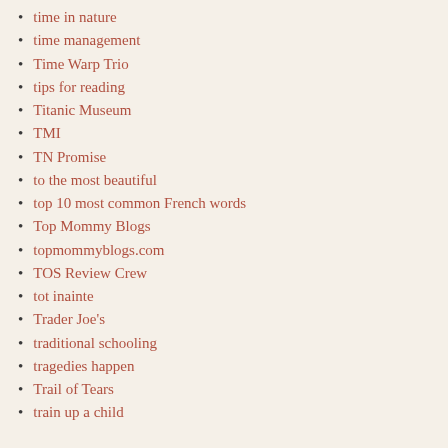time in nature
time management
Time Warp Trio
tips for reading
Titanic Museum
TMI
TN Promise
to the most beautiful
top 10 most common French words
Top Mommy Blogs
topmommyblogs.com
TOS Review Crew
tot inainte
Trader Joe's
traditional schooling
tragedies happen
Trail of Tears
train up a child